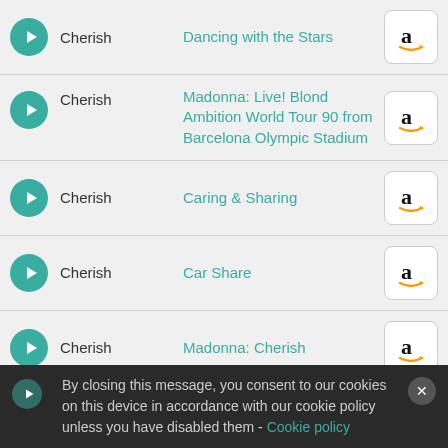Cherish — Dancing with the Stars
Cherish — Madonna: Live! Blond Ambition World Tour 90 from Barcelona Olympic Stadium
Cherish — Caring & Sharing
Cherish — Car Share
Cherish — Madonna: Cherish
By closing this message, you consent to our cookies on this device in accordance with our cookie policy unless you have disabled them - Cookie policy
Crazy for You — 13 Going on 30